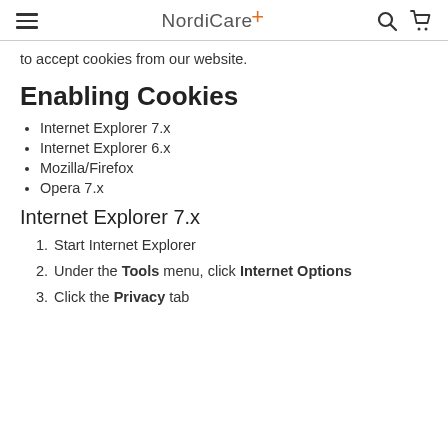NordiCare+
to accept cookies from our website.
Enabling Cookies
Internet Explorer 7.x
Internet Explorer 6.x
Mozilla/Firefox
Opera 7.x
Internet Explorer 7.x
1. Start Internet Explorer
2. Under the Tools menu, click Internet Options
3. Click the Privacy tab